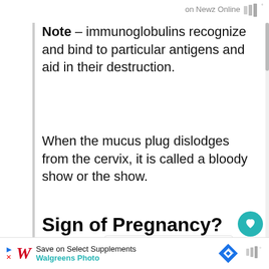on Newz Online
Note – immunoglobulins recognize and bind to particular antigens and aid in their destruction.
When the mucus plug dislodges from the cervix, it is called a bloody show or the show.
Sign of Pregnancy?
Some women experience the mucus plug as a symptom of